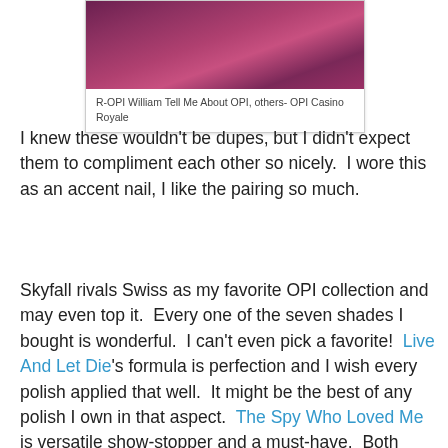[Figure (photo): Close-up photo of a dark pink/magenta nail polish bottle, partially showing the OPI label]
R-OPI William Tell Me About OPI, others- OPI Casino Royale
I knew these wouldn't be dupes, but I didn't expect them to compliment each other so nicely.  I wore this as an accent nail, I like the pairing so much.
Skyfall rivals Swiss as my favorite OPI collection and may even top it.  Every one of the seven shades I bought is wonderful.  I can't even pick a favorite!  Live And Let Die's formula is perfection and I wish every polish applied that well.  It might be the best of any polish I own in that aspect.  The Spy Who Loved Me is versatile show-stopper and a must-have.  Both Skyfall and Casino Royale are ideal OPI creams.  The World Is Not Enough and On Her Majesty's Secret Service are spectacular flecky foils with duochrome